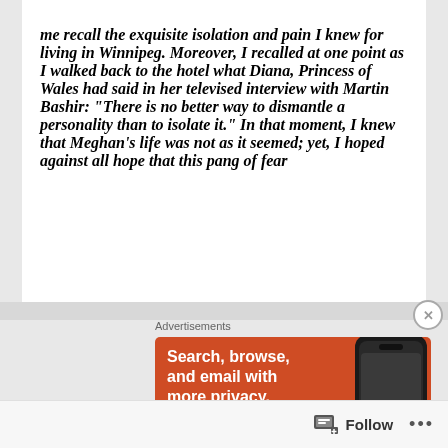me recall the exquisite isolation and pain I knew for living in Winnipeg. Moreover, I recalled at one point as I walked back to the hotel what Diana, Princess of Wales had said in her televised interview with Martin Bashir: “There is no better way to dismantle a personality than to isolate it.” In that moment, I knew that Meghan’s life was not as it seemed; yet, I hoped against all hope that this pang of fear
Advertisements
[Figure (screenshot): DuckDuckGo advertisement banner in orange/red color with text 'Search, browse, and email with more privacy.' and a button reading 'All in One Free App', with a phone image and DuckDuckGo logo]
Follow ...